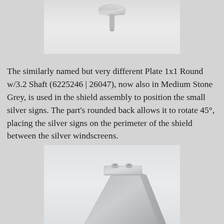[Figure (photo): Top portion of a LEGO part photo showing a small rounded grey piece against a light grey background, partially cropped at top]
The similarly named but very different Plate 1x1 Round w/3.2 Shaft (6225246 | 26047), now also in Medium Stone Grey, is used in the shield assembly to position the small silver signs. The part's rounded back allows it to rotate 45°, placing the silver signs on the perimeter of the shield between the silver windscreens.
[Figure (photo): LEGO Plate 1x1 Round w/3.2 Shaft part (26047) in Medium Stone Grey shown from an angle, displaying a flat plate with two stud holes on top and a tapered fin/shaft extending downward]